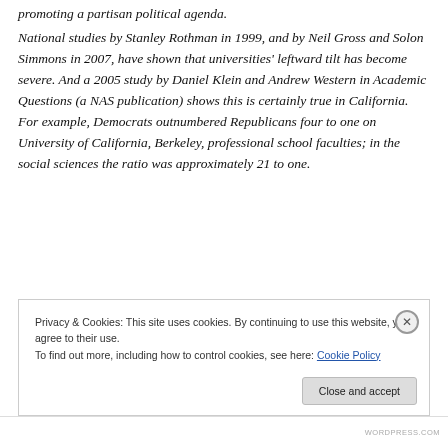promoting a partisan political agenda.
National studies by Stanley Rothman in 1999, and by Neil Gross and Solon Simmons in 2007, have shown that universities' leftward tilt has become severe. And a 2005 study by Daniel Klein and Andrew Western in Academic Questions (a NAS publication) shows this is certainly true in California. For example, Democrats outnumbered Republicans four to one on University of California, Berkeley, professional school faculties; in the social sciences the ratio was approximately 21 to one.
Privacy & Cookies: This site uses cookies. By continuing to use this website, you agree to their use. To find out more, including how to control cookies, see here: Cookie Policy